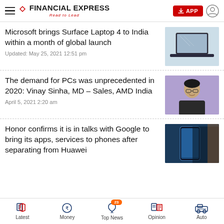Financial Express — Read to Lead
Microsoft brings Surface Laptop 4 to India within a month of global launch
Updated: May 25, 2021 12:51 pm
[Figure (photo): Microsoft Surface Laptop 4 on a light blue background]
The demand for PCs was unprecedented in 2020: Vinay Sinha, MD – Sales, AMD India
April 5, 2021 2:20 am
[Figure (photo): Portrait of Vinay Sinha against purple background]
Honor confirms it is in talks with Google to bring its apps, services to phones after separating from Huawei
[Figure (photo): Honor smartphone in blue/dark background]
Latest | Money | Top News 23 | Opinion | Auto